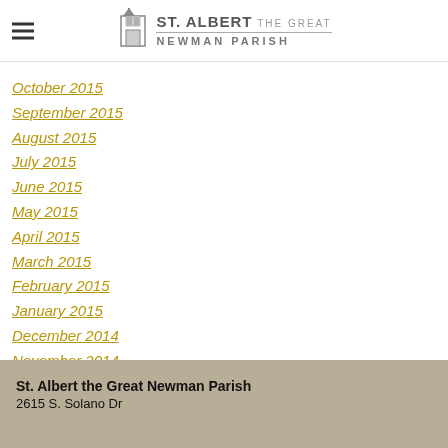St. Albert the Great Newman Parish
October 2015
September 2015
August 2015
July 2015
June 2015
May 2015
April 2015
March 2015
February 2015
January 2015
December 2014
November 2014
RSS Feed
St. Albert the Great Newman Parish
2615 S. Solano Dr